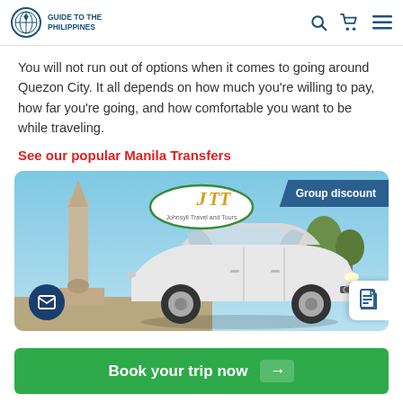Guide to the Philippines
You will not run out of options when it comes to going around Quezon City. It all depends on how much you're willing to pay, how far you're going, and how comfortable you want to be while traveling.
See our popular Manila Transfers
[Figure (photo): JTT (Johnsyll Travel and Tours) advertisement image showing a white Toyota Corolla sedan parked in front of a monument/obelisk, with a 'Group discount' banner in the top right corner. Floating email and document icons are overlaid at the bottom.]
Book your trip now →